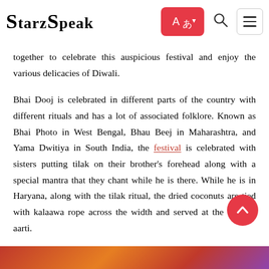StarzSpeak
together to celebrate this auspicious festival and enjoy the various delicacies of Diwali.
Bhai Dooj is celebrated in different parts of the country with different rituals and has a lot of associated folklore. Known as Bhai Photo in West Bengal, Bhau Beej in Maharashtra, and Yama Dwitiya in South India, the festival is celebrated with sisters putting tilak on their brother's forehead along with a special mantra that they chant while he is there. While he is in Haryana, along with the tilak ritual, the dried coconuts are tied with kalaawa rope across the width and served at the time of aarti.
[Figure (photo): Bottom portion of an image visible at the bottom of the page, appears to show a food or festival scene with red and orange colors.]